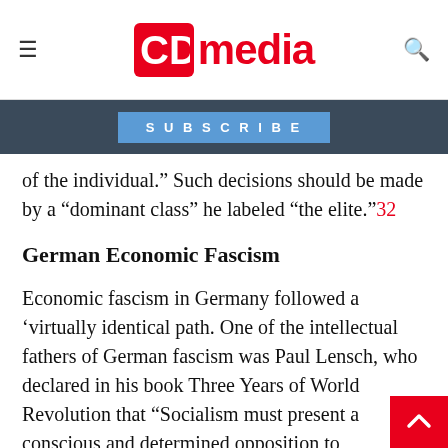CD media
SUBSCRIBE
of the individual.” Such decisions should be made by a “dominant class” he labeled “the elite.”32
German Economic Fascism
Economic fascism in Germany followed a ‘virtually identical path. One of the intellectual fathers of German fascism was Paul Lensch, who declared in his book Three Years of World Revolution that “Socialism must present a conscious and determined opposition to individualism.”33 The philosophy of German fascism was expressed in the slogan, Gemeinnutz geht vor Eigennutz, which means “the common good comes